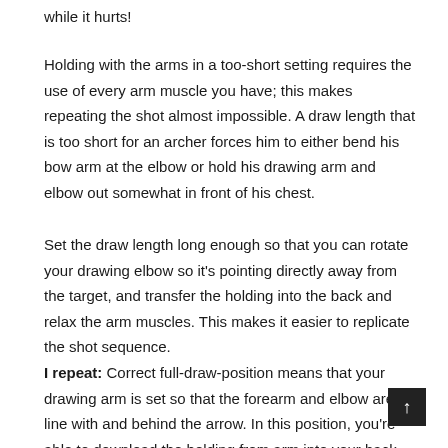while it hurts!
Holding with the arms in a too-short setting requires the use of every arm muscle you have; this makes repeating the shot almost impossible. A draw length that is too short for an archer forces him to either bend his bow arm at the elbow or hold his drawing arm and elbow out somewhat in front of his chest.
Set the draw length long enough so that you can rotate your drawing elbow so it's pointing directly away from the target, and transfer the holding into the back and relax the arm muscles. This makes it easier to replicate the shot sequence.
I repeat: Correct full-draw-position means that your drawing arm is set so that the forearm and elbow are in line with and behind the arrow. In this position, you're able to download the holding from arm into your back muscles, thereby relaxing the holding arm and release hand. Minimizing muscle use creates the potential for a